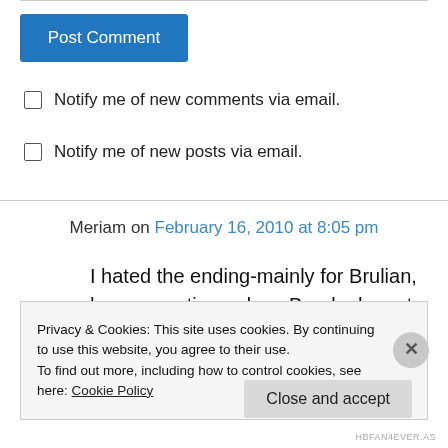[Figure (screenshot): Post Comment button — blue rectangle with white text]
Notify me of new comments via email.
Notify me of new posts via email.
Meriam on February 16, 2010 at 8:05 pm
I hated the ending-mainly for Brulian, how many times does Brooke have to go through this
Privacy & Cookies: This site uses cookies. By continuing to use this website, you agree to their use.
To find out more, including how to control cookies, see here: Cookie Policy
Close and accept